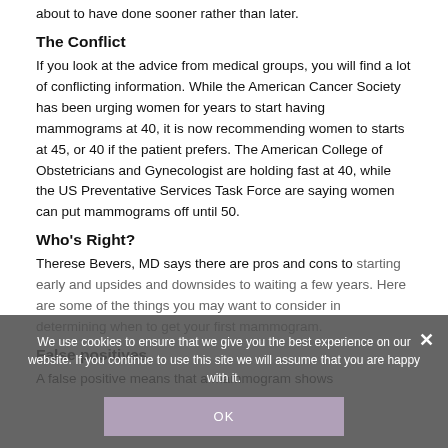about to have done sooner rather than later.
The Conflict
If you look at the advice from medical groups, you will find a lot of conflicting information. While the American Cancer Society has been urging women for years to start having mammograms at 40, it is now recommending women to starts at 45, or 40 if the patient prefers. The American College of Obstetricians and Gynecologist are holding fast at 40, while the US Preventative Services Task Force are saying women can put mammograms off until 50.
Who's Right?
Therese Bevers, MD says there are pros and cons to starting early and upsides and downsides to waiting a few years. Here are some of the things you may want to consider in determining when to get your first mammogram.
False positives
A false positive means that a mammogram shows